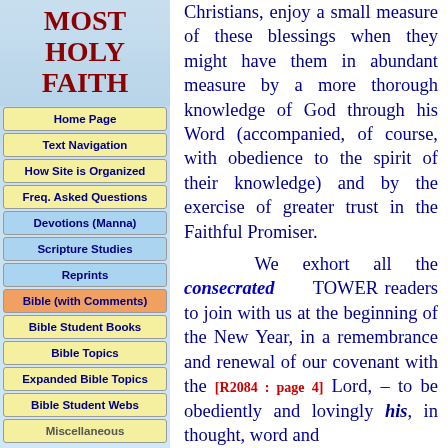MOST HOLY FAITH
Home Page
Text Navigation
How Site is Organized
Freq. Asked Questions
Devotions (Manna)
Scripture Studies
Reprints
Bible (with Comments)
Bible Student Books
Bible Topics
Expanded Bible Topics
Bible Student Webs
Miscellaneous
Christians, enjoy a small measure of these blessings when they might have them in abundant measure by a more thorough knowledge of God through his Word (accompanied, of course, with obedience to the spirit of their knowledge) and by the exercise of greater trust in the Faithful Promiser.
We exhort all the consecrated TOWER readers to join with us at the beginning of the New Year, in a remembrance and renewal of our covenant with the [R2084 : page 4] Lord, – to be obediently and lovingly his, in thought, word and